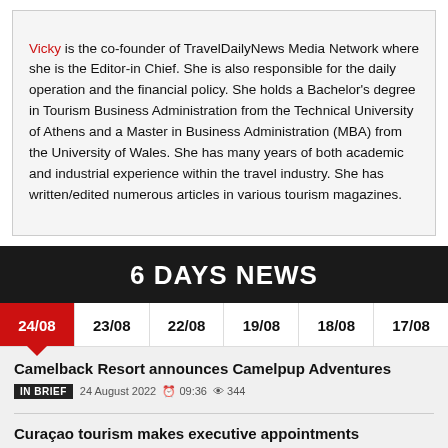Vicky is the co-founder of TravelDailyNews Media Network where she is the Editor-in Chief. She is also responsible for the daily operation and the financial policy. She holds a Bachelor's degree in Tourism Business Administration from the Technical University of Athens and a Master in Business Administration (MBA) from the University of Wales. She has many years of both academic and industrial experience within the travel industry. She has written/edited numerous articles in various tourism magazines.
6 DAYS NEWS
24/08 | 23/08 | 22/08 | 19/08 | 18/08 | 17/08
Camelback Resort announces Camelpup Adventures
IN BRIEF  24 August 2022  09:36  344
Curaçao tourism makes executive appointments